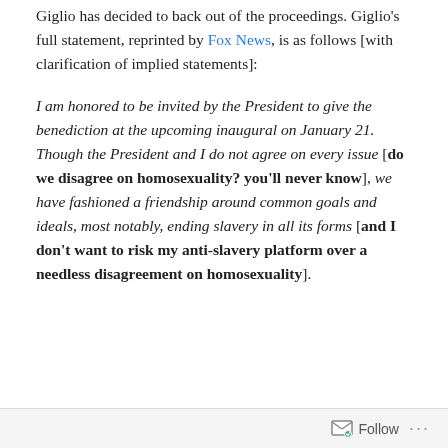Giglio has decided to back out of the proceedings. Giglio's full statement, reprinted by Fox News, is as follows [with clarification of implied statements]:
I am honored to be invited by the President to give the benediction at the upcoming inaugural on January 21. Though the President and I do not agree on every issue [do we disagree on homosexuality? you'll never know], we have fashioned a friendship around common goals and ideals, most notably, ending slavery in all its forms [and I don't want to risk my anti-slavery platform over a needless disagreement on homosexuality].
Follow